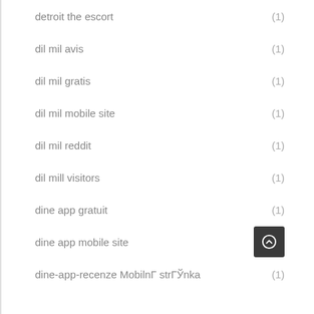detroit the escort (1)
dil mil avis (1)
dil mil gratis (1)
dil mil mobile site (1)
dil mil reddit (1)
dil mill visitors (1)
dine app gratuit (1)
dine app mobile site
dine-app-recenze MobilnГ strГЎnka (1)